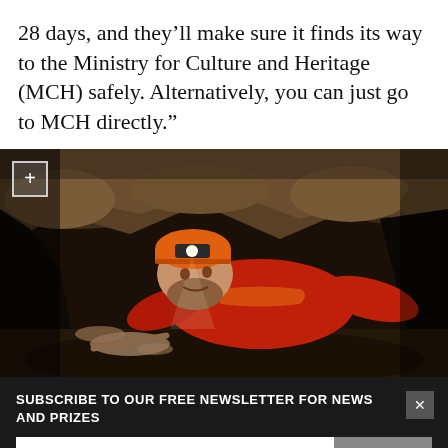28 days, and they’ll make sure it finds its way to the Ministry for Culture and Heritage (MCH) safely. Alternatively, you can just go to MCH directly.”
[Figure (photo): A person in a red jacket and orange helmet with a headlamp crawling through a narrow cave, examining bones or artifacts on the cave floor.]
SUBSCRIBE TO OUR FREE NEWSLETTER FOR NEWS AND PRIZES
3 FREE ARTICLES LEFT
Subscribe for $1 | Sign in